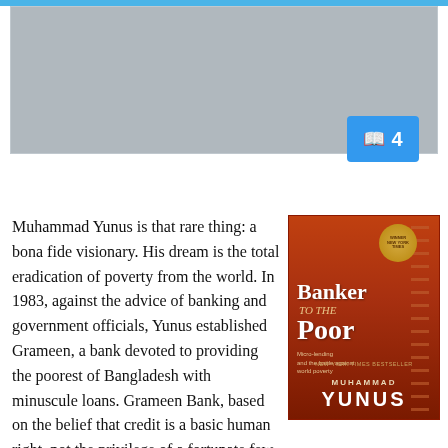[Figure (photo): Gray placeholder image area at the top of the page]
Muhammad Yunus is that rare thing: a bona fide visionary. His dream is the total eradication of poverty from the world. In 1983, against the advice of banking and government officials, Yunus established Grameen, a bank devoted to providing the poorest of Bangladesh with minuscule loans. Grameen Bank, based on the belief that credit is a basic human right, not the privilege of a fortunate few, now provides over 2.5 billion dollars of micro-loans to more than two million families in rural Bangladesh.
[Figure (photo): Book cover of 'Banker to the Poor' by Muhammad Yunus, with red/orange background and ladder imagery]